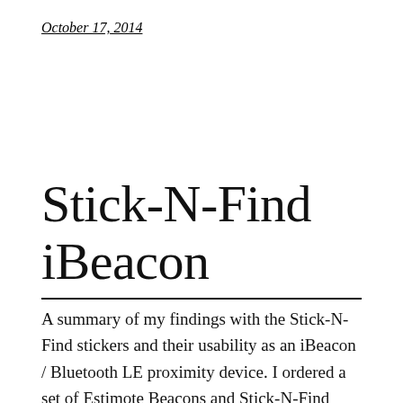October 17, 2014
Stick-N-Find iBeacon
A summary of my findings with the Stick-N-Find stickers and their usability as an iBeacon / Bluetooth LE proximity device. I ordered a set of Estimote Beacons and Stick-N-Find stickers and